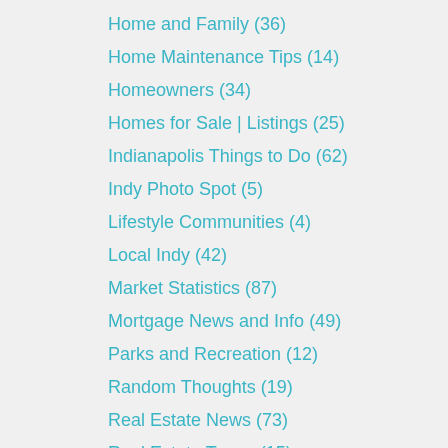Home and Family (36)
Home Maintenance Tips (14)
Homeowners (34)
Homes for Sale | Listings (25)
Indianapolis Things to Do (62)
Indy Photo Spot (5)
Lifestyle Communities (4)
Local Indy (42)
Market Statistics (87)
Mortgage News and Info (49)
Parks and Recreation (12)
Random Thoughts (19)
Real Estate News (73)
Real Estate Terms (15)
Relocation Tips (8)